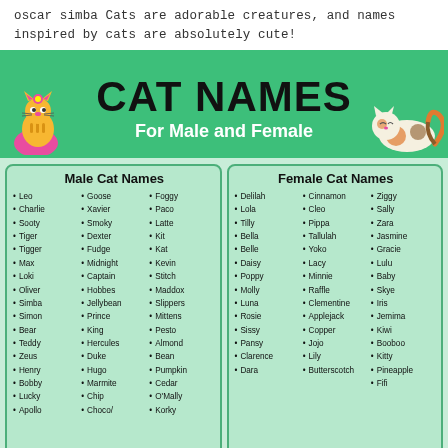oscar simba Cats are adorable creatures, and names inspired by cats are absolutely cute!
[Figure (infographic): Banner with green background, cartoon cats, bold title CAT NAMES, subtitle For Male and Female]
Male Cat Names list: Leo, Charlie, Sooty, Tiger, Tigger, Max, Loki, Oliver, Simba, Simon, Bear, Teddy, Zeus, Henry, Bobby, Lucky, Apollo, Goose, Xavier, Smoky, Dexter, Fudge, Midnight, Captain, Hobbes, Jellybean, Prince, King, Hercules, Duke, Hugo, Marmite, Chip, Choco/, Foggy, Paco, Latte, Kit, Kat, Kevin, Stitch, Maddox, Slippers, Mittens, Pesto, Almond, Bean, Pumpkin, Cedar, O'Mally, Korky
Female Cat Names list: Delilah, Lola, Tilly, Bella, Belle, Daisy, Poppy, Molly, Luna, Rosie, Sissy, Pansy, Clarence, Dara, Cinnamon, Cleo, Pippa, Tallulah, Yoko, Lacy, Minnie, Raffle, Clementine, Applejack, Copper, Jojo, Lily, Butterscotch, Ziggy, Sally, Zara, Jasmine, Gracie, Lulu, Baby, Skye, Iris, Jemima, Kiwi, Booboo, Kitty, Pineapple, Fifi